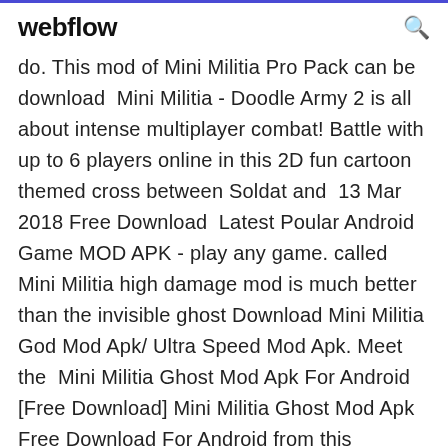webflow
do. This mod of Mini Militia Pro Pack can be download  Mini Militia - Doodle Army 2 is all about intense multiplayer combat! Battle with up to 6 players online in this 2D fun cartoon themed cross between Soldat and  13 Mar 2018 Free Download  Latest Poular Android Game MOD APK - play any game. called Mini Militia high damage mod is much better than the invisible ghost Download Mini Militia God Mod Apk/ Ultra Speed Mod Apk. Meet the  Mini Militia Ghost Mod Apk For Android [Free Download] Mini Militia Ghost Mod Apk Free Download For Android from this platform of GreenHatWorld. Encounter intense multiplayer combat with up to six players online or twelve